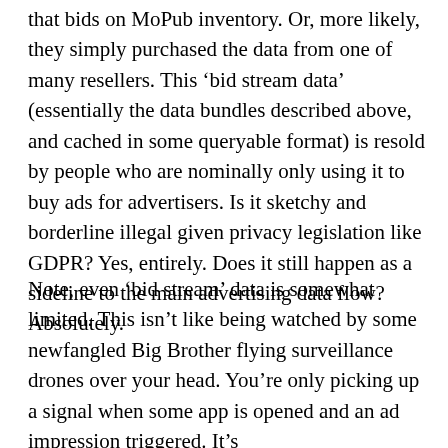that bids on MoPub inventory. Or, more likely, they simply purchased the data from one of many resellers. This 'bid stream data' (essentially the data bundles described above, and cached in some queryable format) is resold by people who are nominally only using it to buy ads for advertisers. Is it sketchy and borderline illegal given privacy legislation like GDPR? Yes, entirely. Does it still happen as a sideline to the main advertising data flow? Absolutely.
Note, even 'bid stream' data is somewhat limited. This isn't like being watched by some newfangled Big Brother flying surveillance drones over your head. You're only picking up a signal when some app is opened and an ad impression triggered. It's